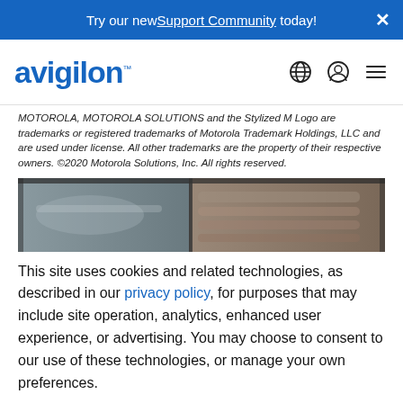Try our new Support Community today!
[Figure (logo): Avigilon logo in blue with globe, user, and menu icons]
MOTOROLA, MOTOROLA SOLUTIONS and the Stylized M Logo are trademarks or registered trademarks of Motorola Trademark Holdings, LLC and are used under license. All other trademarks are the property of their respective owners. ©2020 Motorola Solutions, Inc. All rights reserved.
[Figure (photo): Industrial/security camera equipment photo strip]
This site uses cookies and related technologies, as described in our privacy policy, for purposes that may include site operation, analytics, enhanced user experience, or advertising. You may choose to consent to our use of these technologies, or manage your own preferences.
Manage Settings | Accept | Decline All